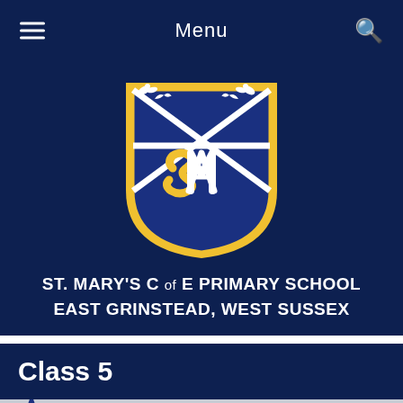Menu
[Figure (logo): St. Mary's C of E Primary School shield crest logo with gold 'SM' monogram and birds on a blue background with gold border]
ST. MARY'S C of E PRIMARY SCHOOL
EAST GRINSTEAD, WEST SUSSEX
Class 5
>> Children >> Class Pages >> Class